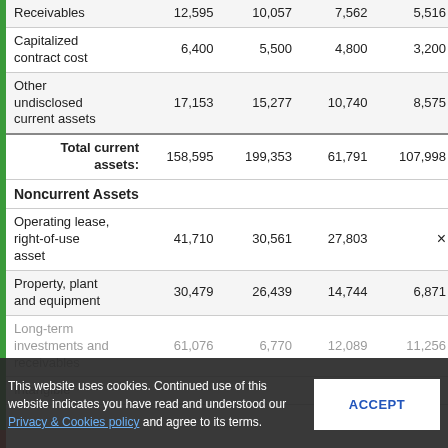|  | Col1 | Col2 | Col3 | Col4 |
| --- | --- | --- | --- | --- |
| Receivables | 12,595 | 10,057 | 7,562 | 5,516 |
| Capitalized contract cost | 6,400 | 5,500 | 4,800 | 3,200 |
| Other undisclosed current assets | 17,153 | 15,277 | 10,740 | 8,575 |
| Total current assets: | 158,595 | 199,353 | 61,791 | 107,998 |
| Noncurrent Assets |  |  |  |  |
| Operating lease, right-of-use asset | 41,710 | 30,561 | 27,803 | × |
| Property, plant and equipment | 30,479 | 26,439 | 14,744 | 6,871 |
| Long-term investments and receivables | 61,076 | 6,770 | 12,089 | 11,256 |
| Intangible |  |  |  |  |
This website uses cookies. Continued use of this website indicates you have read and understood our Privacy & Cookies policy and agree to its terms.